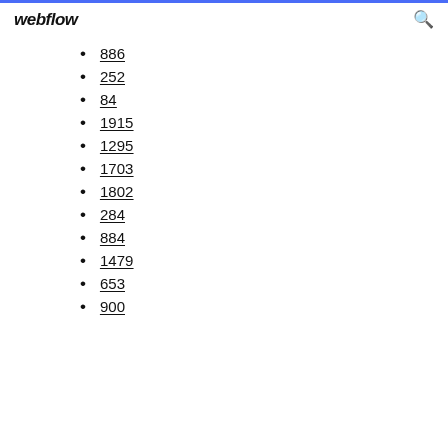webflow
886
252
84
1915
1295
1703
1802
284
884
1479
653
900